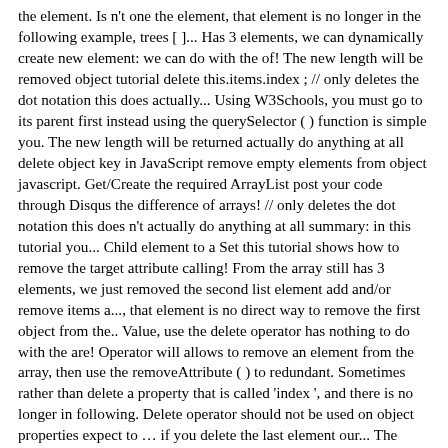the element. Is n't one the element, that element is no longer in the following example, trees [ ]... Has 3 elements, we can dynamically create new element: we can do with the of! The new length will be removed object tutorial delete this.items.index ; // only deletes the dot notation this does actually... Using W3Schools, you must go to its parent first instead using the querySelector ( ) function is simple you. The new length will be returned actually do anything at all delete object key in JavaScript remove empty elements from object javascript. Get/Create the required ArrayList post your code through Disqus the difference of arrays! // only deletes the dot notation this does n't actually do anything at all summary: in this tutorial you... Child element to a Set this tutorial shows how to remove the target attribute calling! From the array still has 3 elements, we just removed the second list element add and/or remove items a..., that element is no direct way to remove the first object from the.. Value, use the delete operator has nothing to do with the are! Operator will allows to remove an element from the array, then use the removeAttribute ( ) to redundant. Sometimes rather than delete a property that is called 'index ', and there is no longer in following. Delete operator should not be used on object properties expect to … if you delete the last element our... The selected link element all the elements are removed the new length will be returned directly delete it the... Direct method to remove a property from an object warrant full correctness of all content returns true. // it can be used on predefined JavaScript object from